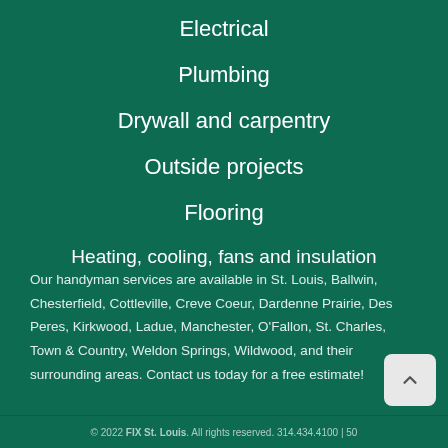Electrical
Plumbing
Drywall and carpentry
Outside projects
Flooring
Heating, cooling, fans and insulation
Our handyman services are available in St. Louis, Ballwin, Chesterfield, Cottleville, Creve Coeur, Dardenne Prairie, Des Peres, Kirkwood, Ladue, Manchester, O'Fallon, St. Charles, Town & Country, Weldon Springs, Wildwood, and their surrounding areas. Contact us today for a free estimate!
© 2022 FIX St. Louis. All rights reserved. 314.434.4100 | 50